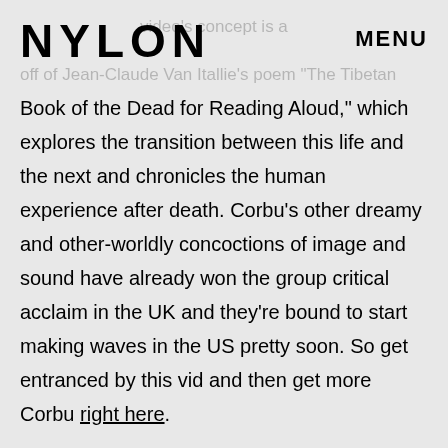NYLON  MENU
video's concept is a off of Jean-Claude Van Itallie's poem "The Tibetan Book of the Dead for Reading Aloud," which explores the transition between this life and the next and chronicles the human experience after death. Corbu's other dreamy and other-worldly concoctions of image and sound have already won the group critical acclaim in the UK and they're bound to start making waves in the US pretty soon. So get entranced by this vid and then get more Corbu right here.